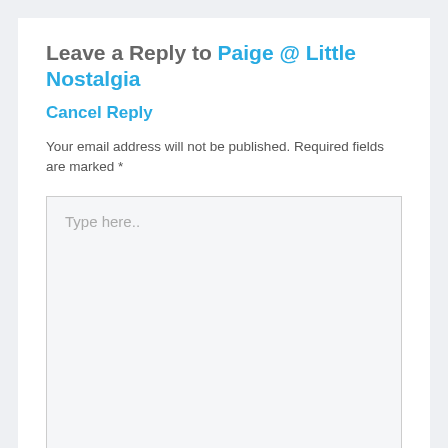Leave a Reply to Paige @ Little Nostalgia
Cancel Reply
Your email address will not be published. Required fields are marked *
[Figure (screenshot): A comment textarea input box with placeholder text 'Type here..']